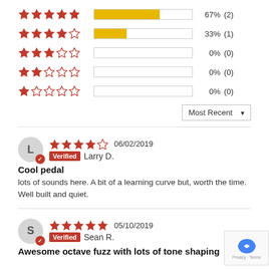[Figure (bar-chart): Star rating distribution]
Most Recent (dropdown)
4 stars  06/02/2019  Verified  Larry D.
Cool pedal
lots of sounds here. A bit of a learning curve but, worth the time. Well built and quiet.
5 stars  05/10/2019  Verified  Sean R.
Awesome octave fuzz with lots of tone shaping